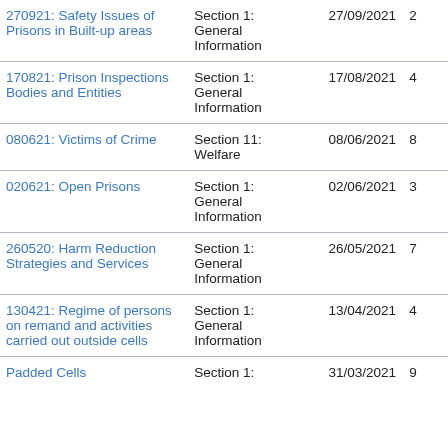| Title | Section | Date | Pages |
| --- | --- | --- | --- |
| 270921: Safety Issues of Prisons in Built-up areas | Section 1: General Information | 27/09/2021 | 2 |
| 170821: Prison Inspections Bodies and Entities | Section 1: General Information | 17/08/2021 | 4 |
| 080621: Victims of Crime | Section 11: Welfare | 08/06/2021 | 8 |
| 020621: Open Prisons | Section 1: General Information | 02/06/2021 | 3 |
| 260520: Harm Reduction Strategies and Services | Section 1: General Information | 26/05/2021 | 7 |
| 130421: Regime of persons on remand and activities carried out outside cells | Section 1: General Information | 13/04/2021 | 4 |
| Padded Cells | Section 1: | 31/03/2021 | 9 |